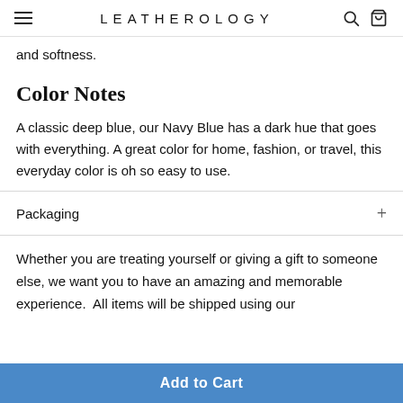LEATHEROLOGY
and softness.
Color Notes
A classic deep blue, our Navy Blue has a dark hue that goes with everything. A great color for home, fashion, or travel, this everyday color is oh so easy to use.
Packaging
Whether you are treating yourself or giving a gift to someone else, we want you to have an amazing and memorable experience.  All items will be shipped using our
Add to Cart